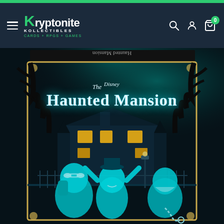Kryptonite Kollectibles — CARDS + RPGS + GAMES
[Figure (screenshot): Kryptonite Kollectibles e-commerce website header with dark navy navigation bar, green K logo, hamburger menu, search icon, account icon, and cart icon with badge showing 0]
[Figure (photo): Product image of Disney's The Haunted Mansion board game box featuring illustrated ghost characters in teal/cyan tones in front of a spooky mansion]